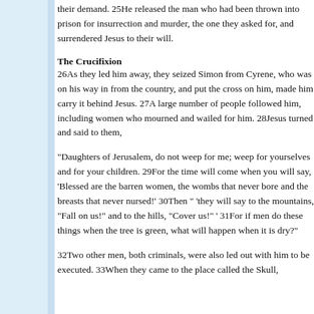their demand. 25He released the man who had been thrown into prison for insurrection and murder, the one they asked for, and surrendered Jesus to their will.
The Crucifixion
26As they led him away, they seized Simon from Cyrene, who was on his way in from the country, and put the cross on him, made him carry it behind Jesus. 27A large number of people followed him, including women who mourned and wailed for him. 28Jesus turned and said to them,
"Daughters of Jerusalem, do not weep for me; weep for yourselves and for your children. 29For the time will come when you will say, 'Blessed are the barren women, the wombs that never bore and the breasts that never nursed!' 30Then " 'they will say to the mountains, "Fall on us!" and to the hills, "Cover us!" ' 31For if men do these things when the tree is green, what will happen when it is dry?"
32Two other men, both criminals, were also led out with him to be executed. 33When they came to the place called the Skull,